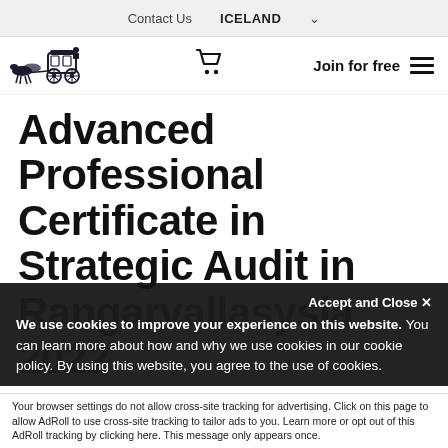Contact Us   ICELAND
[Figure (logo): Horse-drawn carriage logo illustration in dark navy/black ink]
Join for free
Advanced Professional Certificate in Strategic Audit in Rangarvallasysla 2022
We use cookies to improve your experience on this website. You can learn more about how and why we use cookies in our cookie policy. By using this website, you agree to the use of cookies.
Accept and Close ✕
Your browser settings do not allow cross-site tracking for advertising. Click on this page to allow AdRoll to use cross-site tracking to tailor ads to you. Learn more or opt out of this AdRoll tracking by clicking here. This message only appears once.